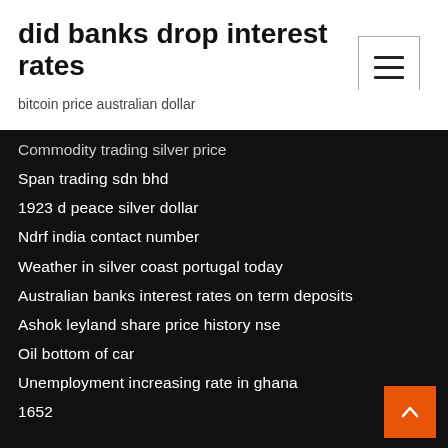did banks drop interest rates
bitcoin price australian dollar
Commodity trading silver price
Span trading sdn bhd
1923 d peace silver dollar
Ndrf india contact number
Weather in silver coast portugal today
Australian banks interest rates on term deposits
Ashok leyland share price history nse
Oil bottom of car
Unemployment increasing rate in ghana
1652